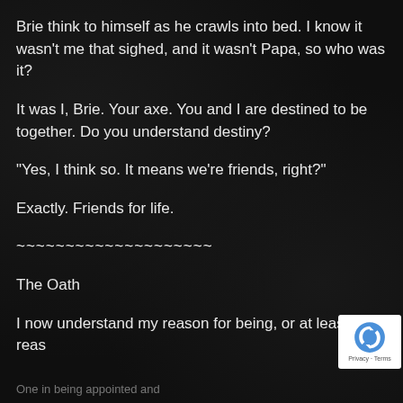Brie think to himself as he crawls into bed. I know it wasn't me that sighed, and it wasn't Papa, so who was it?
It was I, Brie. Your axe. You and I are destined to be together. Do you understand destiny?
“Yes, I think so. It means we’re friends, right?”
Exactly. Friends for life.
~~~~~~~~~~~~~~~~~~~~
The Oath
I now understand my reason for being, or at least, a reas
One in being appointed and